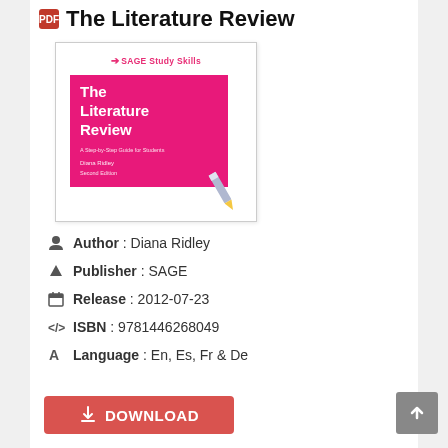The Literature Review
[Figure (illustration): Book cover of 'The Literature Review: A Step-by-Step Guide for Students' by Diana Ridley, Second Edition, published by SAGE Study Skills. Cover is pink/magenta with white text. A pencil graphic appears at bottom right of the book cover image.]
Author : Diana Ridley
Publisher : SAGE
Release : 2012-07-23
ISBN : 9781446268049
Language : En, Es, Fr & De
DOWNLOAD